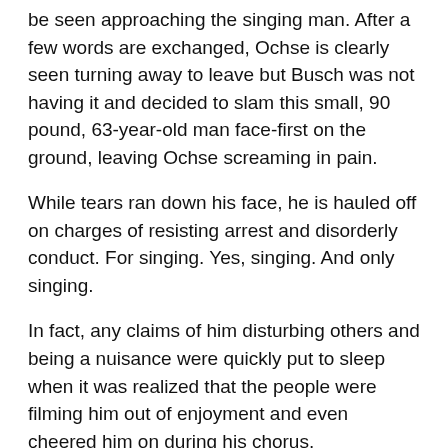be seen approaching the singing man. After a few words are exchanged, Ochse is clearly seen turning away to leave but Busch was not having it and decided to slam this small, 90 pound, 63-year-old man face-first on the ground, leaving Ochse screaming in pain.
While tears ran down his face, he is hauled off on charges of resisting arrest and disorderly conduct. For singing. Yes, singing. And only singing.
In fact, any claims of him disturbing others and being a nuisance were quickly put to sleep when it was realized that the people were filming him out of enjoyment and even cheered him on during his chorus.
Officer Randy Busch, not realizing he was on camera, submits a police report alleging that Ochse poked him in the chest and was loud and obnoxious. When the